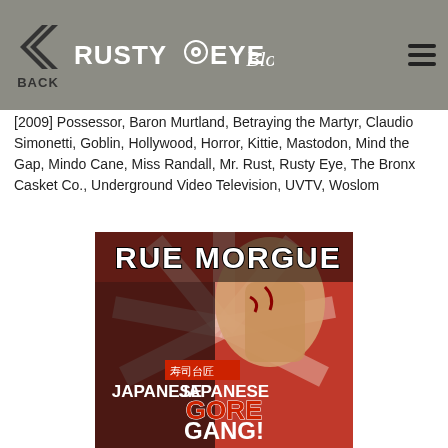RUSTY EYE Blog — BACK navigation header
[2009] Possessor, Baron Murtland, Betraying the Martyr, Claudio Simonetti, Goblin, Hollywood, Horror, Kittie, Mastodon, Mind the Gap, Mindo Cane, Miss Randall, Mr. Rust, Rusty Eye, The Bronx Casket Co., Underground Video Television, UVTV, Woslom
[Figure (photo): Cover of Rue Morgue magazine featuring Japanese Gore Gang horror theme with monster characters on red background with text JAPANESE GORE GANG! MEET THE NEW REBELS OF SPLATTER CINEMA]